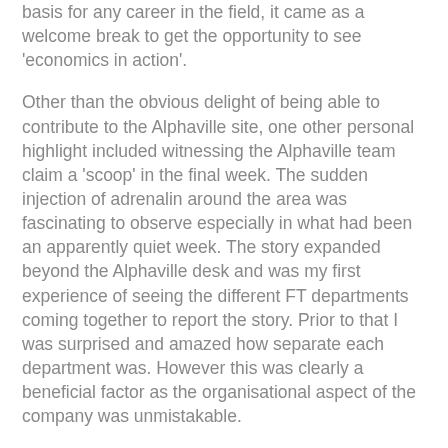basis for any career in the field, it came as a welcome break to get the opportunity to see 'economics in action'.
Other than the obvious delight of being able to contribute to the Alphaville site, one other personal highlight included witnessing the Alphaville team claim a 'scoop' in the final week. The sudden injection of adrenalin around the area was fascinating to observe especially in what had been an apparently quiet week. The story expanded beyond the Alphaville desk and was my first experience of seeing the different FT departments coming together to report the story. Prior to that I was surprised and amazed how separate each department was. However this was clearly a beneficial factor as the organisational aspect of the company was unmistakable.
Undecided as to which direction my career will follow once I graduate, the FT internship has certainly opened my eyes to the possibility of journalism, especially in the financial sector. Nonetheless, wherever it leads there is no doubt that the two weeks working on the Alphaville desk have been priceless and I am sure the experience will provide a fantastic asset in